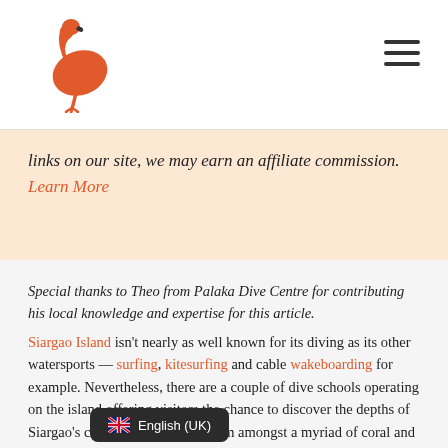[Figure (logo): Red/orange flamingo logo]
links on our site, we may earn an affiliate commission. Learn More
Special thanks to Theo from Palaka Dive Centre for contributing his local knowledge and expertise for this article. Siargao Island isn't nearly as well known for its diving as its other watersports — surfing, kitesurfing and cable wakeboarding for example. Nevertheless, there are a couple of dive schools operating on the island offering visitors the chance to discover the depths of Siargao's crystal clear waters, swim amongst a myriad of coral and stone formations, and get up close with tropical marine life.
English (UK)